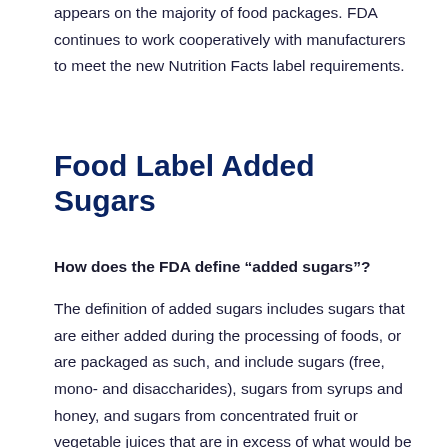appears on the majority of food packages. FDA continues to work cooperatively with manufacturers to meet the new Nutrition Facts label requirements.
Food Label Added Sugars
How does the FDA define “added sugars”?
The definition of added sugars includes sugars that are either added during the processing of foods, or are packaged as such, and include sugars (free, mono- and disaccharides), sugars from syrups and honey, and sugars from concentrated fruit or vegetable juices that are in excess of what would be expected from the